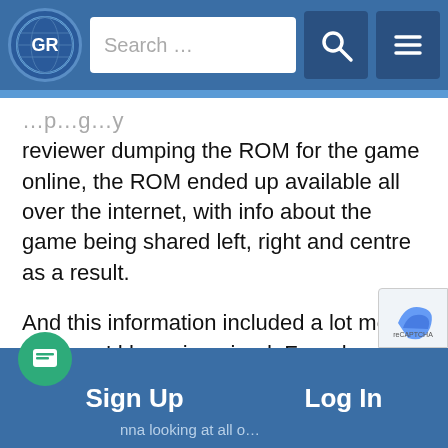[Figure (screenshot): Website navigation bar with GR logo, search box, search icon, and hamburger menu icon]
reviewer dumping the ROM for the game online, the ROM ended up available all over the internet, with info about the game being shared left, right and centre as a result.
And this information included a lot more than you’d have imagined. From boss identities to locations, music to villain motivations, all and sundry was made available on the internet, complete with all the heated discussions and commentary you could ever imagine.
[Figure (screenshot): Bottom navigation bar with chat button, Sign Up button, Log In button, and partial text below]